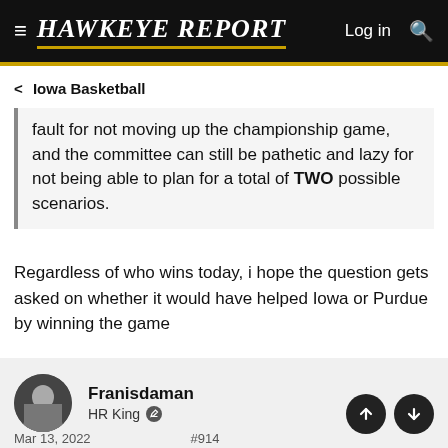HAWKEYE REPORT  Log in
< Iowa Basketball
fault for not moving up the championship game, and the committee can still be pathetic and lazy for not being able to plan for a total of TWO possible scenarios.
Regardless of who wins today, i hope the question gets asked on whether it would have helped Iowa or Purdue by winning the game
Franisdaman
HR King
Mar 13, 2022   #914